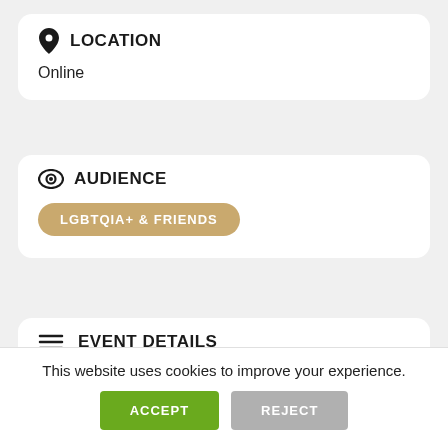LOCATION
Online
AUDIENCE
LGBTQIA+ & FRIENDS
EVENT DETAILS
What is rope bondage? How can I get started? Who might I wish to do this
This website uses cookies to improve your experience.